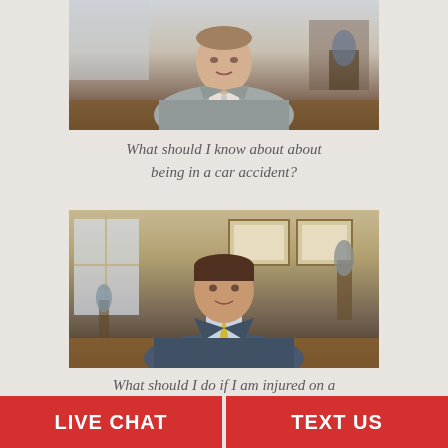[Figure (photo): Man in gray suit sitting at a desk in an office with law-related decor]
What should I know about about being in a car accident?
[Figure (photo): Man in blue suit with yellow tie standing in an office with framed certificates and a Lady Justice statue]
What should I do if I am injured on a bicycle in Florida?
LIVE CHAT   TEXT US